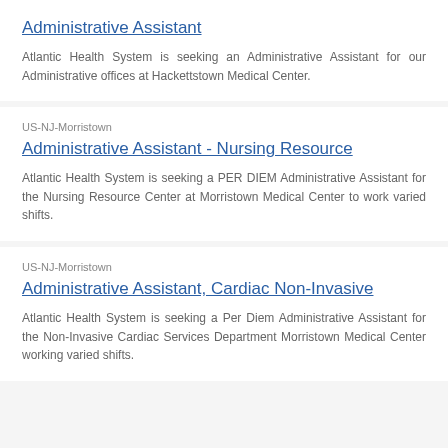Administrative Assistant
Atlantic Health System is seeking an Administrative Assistant for our Administrative offices at Hackettstown Medical Center.
US-NJ-Morristown
Administrative Assistant - Nursing Resource
Atlantic Health System is seeking a PER DIEM Administrative Assistant for the Nursing Resource Center at Morristown Medical Center to work varied shifts.
US-NJ-Morristown
Administrative Assistant, Cardiac Non-Invasive
Atlantic Health System is seeking a Per Diem Administrative Assistant for the Non-Invasive Cardiac Services Department Morristown Medical Center working varied shifts.